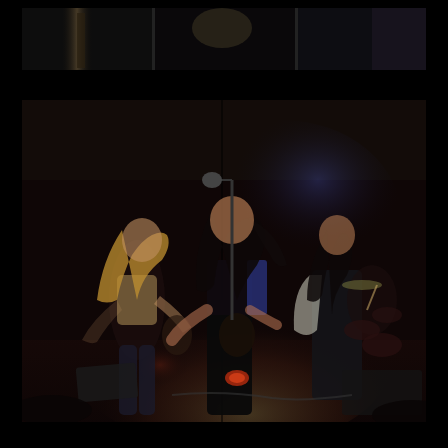[Figure (photo): Top strip photo showing partial view of performers on stage in dark lighting, appearing to be a cropped strip from a concert photo]
[Figure (photo): Main concert photo showing a rock band performing on stage. On the left, a blonde female performer with long hair playing guitar/singing. Center, a dark-haired female performer at a microphone stand holding a guitar, wearing black. To the right, another performer with long hair. In the background, a drummer is visible. Stage is lit with warm red/pink and blue/purple stage lighting against a dark background.]